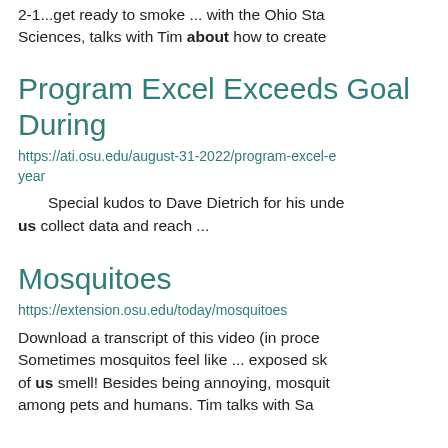2-1...get ready to smoke ... with the Ohio Sta Sciences, talks with Tim about how to create
Program Excel Exceeds Goal During
https://ati.osu.edu/august-31-2022/program-excel-e year
Special kudos to Dave Dietrich for his unde us collect data and reach ...
Mosquitoes
https://extension.osu.edu/today/mosquitoes
Download a transcript of this video (in proce Sometimes mosquitos feel like ... exposed sk of us smell! Besides being annoying, mosquit among pets and humans. Tim talks with Sa